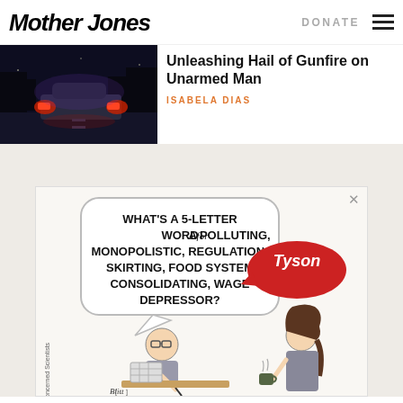Mother Jones
DONATE
Unleashing Hail of Gunfire on Unarmed Man
ISABELA DIAS
[Figure (photo): Nighttime dashcam-style photo of a car with red tail lights on a dark road]
[Figure (illustration): Cartoon advertisement by Union of Concerned Scientists showing a man doing a crossword puzzle asking 'What's a 5-letter word for a polluting, monopolistic, regulation-skirting, food system consolidating, wage depressor?' with a Tyson speech bubble, and a woman holding a coffee mug standing nearby. Signed by Blitt.]